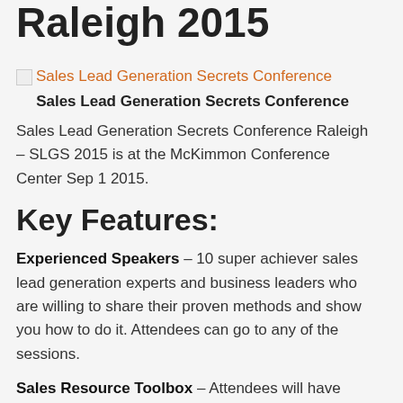Raleigh 2015
[Figure (illustration): Broken image link for Sales Lead Generation Secrets Conference with orange link text]
Sales Lead Generation Secrets Conference
Sales Lead Generation Secrets Conference Raleigh – SLGS 2015 is at the McKimmon Conference Center Sep 1 2015.
Key Features:
Experienced Speakers – 10 super achiever sales lead generation experts and business leaders who are willing to share their proven methods and show you how to do it. Attendees can go to any of the sessions.
Sales Resource Toolbox – Attendees will have instant access to "how-to" guides, sample scripts, sales plan